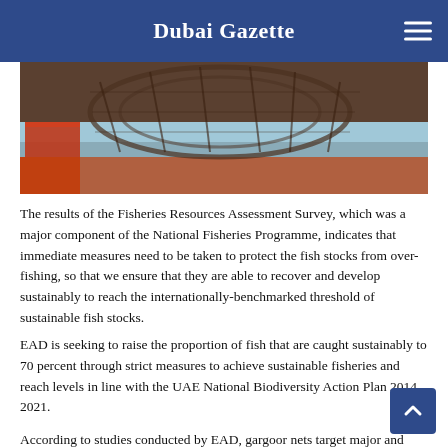Dubai Gazette
[Figure (photo): Photograph of fishing equipment (gargoor/cage nets) on a boat with water visible in the background]
The results of the Fisheries Resources Assessment Survey, which was a major component of the National Fisheries Programme, indicates that immediate measures need to be taken to protect the fish stocks from over-fishing, so that we ensure that they are able to recover and develop sustainably to reach the internationally-benchmarked threshold of sustainable fish stocks.
EAD is seeking to raise the proportion of fish that are caught sustainably to 70 percent through strict measures to achieve sustainable fisheries and reach levels in line with the UAE National Biodiversity Action Plan 2014 – 2021.
According to studies conducted by EAD, gargoor nets target major and highly-exploited species such as Hamour.